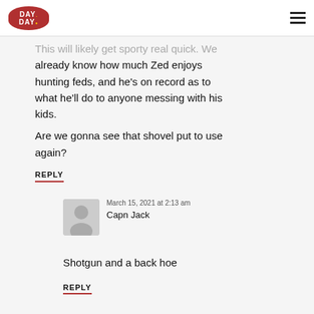Day Day
This will likely get sporty real quick. We already know how much Zed enjoys hunting feds, and he’s on record as to what he’ll do to anyone messing with his kids.
Are we gonna see that shovel put to use again?
REPLY
March 15, 2021 at 2:13 am
Capn Jack
Shotgun and a back hoe
REPLY